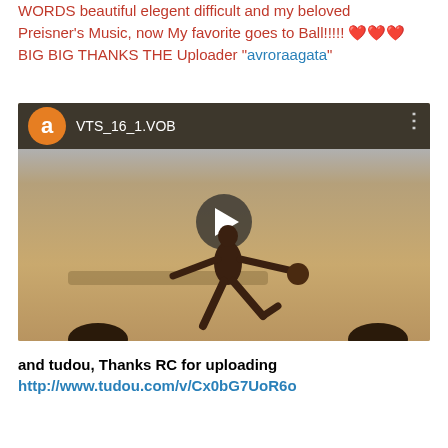WORDS beautiful elegent difficult and my beloved Preisner's Music, now My favorite goes to Ball!!!!! ❤❤❤ BIG BIG THANKS THE Uploader "avroraagata"
[Figure (screenshot): Video thumbnail showing a gymnast performing with a ball in a gym. The video header bar shows an orange avatar with letter 'a' and the title 'VTS_16_1.VOB'. A play button is centered on the thumbnail.]
and tudou, Thanks RC for uploading
http://www.tudou.com/v/Cx0bG7UoR6o